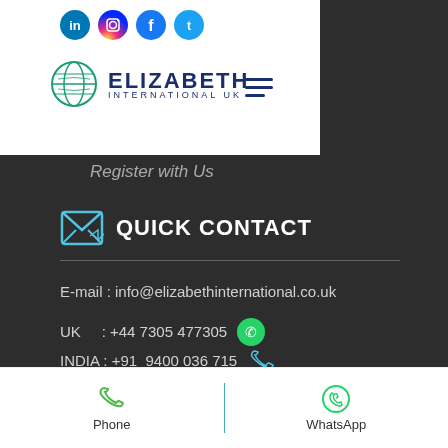[Figure (logo): Elizabeth International UK logo with globe icon and social media icons (LinkedIn, Instagram, Facebook, Twitter)]
Register with Us
QUICK CONTACT
E-mail  :  info@elizabethinternational.co.uk
UK     : +44 7305 477305
INDIA  : +91  9400 036 715
© 2020 by Elizabeth International UK
Phone    WhatsApp